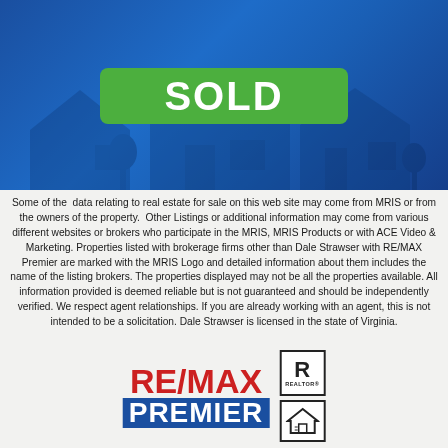[Figure (photo): Blue background hero image showing a house silhouette with a green SOLD banner overlay]
SOLD
Some of the  data relating to real estate for sale on this web site may come from MRIS or from the owners of the property.  Other Listings or additional information may come from various different websites or brokers who participate in the MRIS, MRIS Products or with ACE Video & Marketing. Properties listed with brokerage firms other than Dale Strawser with RE/MAX Premier are marked with the MRIS Logo and detailed information about them includes the name of the listing brokers. The properties displayed may not be all the properties available. All information provided is deemed reliable but is not guaranteed and should be independently verified. We respect agent relationships. If you are already working with an agent, this is not intended to be a solicitation. Dale Strawser is licensed in the state of Virginia.
[Figure (logo): RE/MAX Premier logo in red and blue, with Realtor and Equal Housing Opportunity icons]